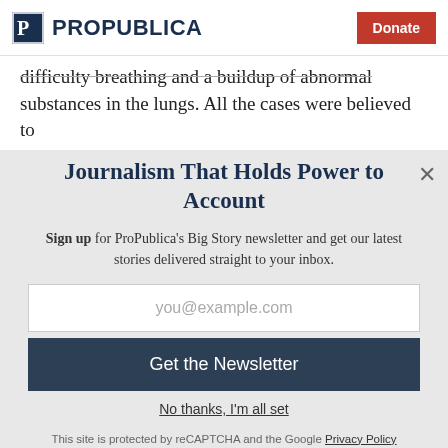ProPublica | Donate
difficulty breathing and a buildup of abnormal substances in the lungs. All the cases were believed to
Journalism That Holds Power to Account
Sign up for ProPublica's Big Story newsletter and get our latest stories delivered straight to your inbox.
you@example.com
Get the Newsletter
No thanks, I'm all set
This site is protected by reCAPTCHA and the Google Privacy Policy and Terms of Service apply.